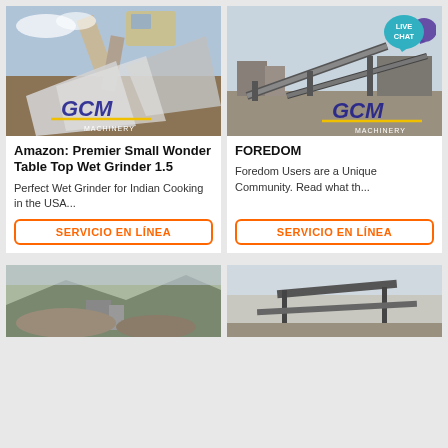[Figure (photo): Excavator with grinder attachment working at a quarry/mining site, with GCM Machinery logo overlay]
Amazon: Premier Small Wonder Table Top Wet Grinder 1.5
Perfect Wet Grinder for Indian Cooking in the USA...
SERVICIO EN LÍNEA
[Figure (photo): Conveyor belt system at a quarry/mining facility, with GCM Machinery logo overlay and Live Chat badge]
FOREDOM
Foredom Users are a Unique Community. Read what th...
SERVICIO EN LÍNEA
[Figure (photo): Partial view of a quarry/mining facility at bottom left]
[Figure (photo): Partial view of industrial machinery/conveyor at bottom right]